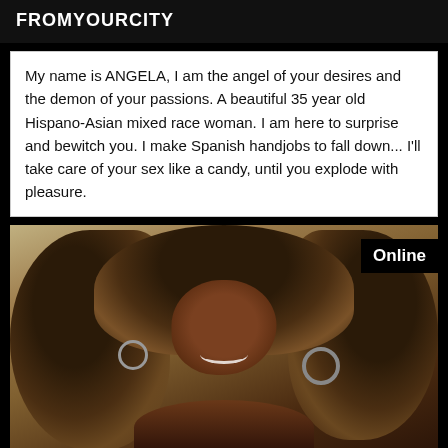FROMYOURCITY
My name is ANGELA, I am the angel of your desires and the demon of your passions. A beautiful 35 year old Hispano-Asian mixed race woman. I am here to surprise and bewitch you. I make Spanish handjobs to fall down... I'll take care of your sex like a candy, until you explode with pleasure.
[Figure (photo): Portrait photo of a woman with curly hair, smiling, wearing hoop earrings. An 'Online' badge is visible in the top-right corner of the photo.]